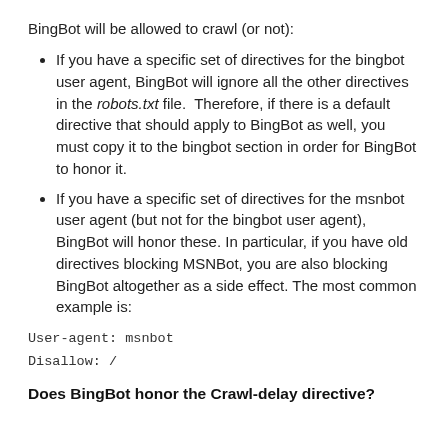BingBot will be allowed to crawl (or not):
If you have a specific set of directives for the bingbot user agent, BingBot will ignore all the other directives in the robots.txt file.  Therefore, if there is a default directive that should apply to BingBot as well, you must copy it to the bingbot section in order for BingBot to honor it.
If you have a specific set of directives for the msnbot user agent (but not for the bingbot user agent), BingBot will honor these. In particular, if you have old directives blocking MSNBot, you are also blocking BingBot altogether as a side effect. The most common example is:
User-agent: msnbot
Disallow: /
Does BingBot honor the Crawl-delay directive?